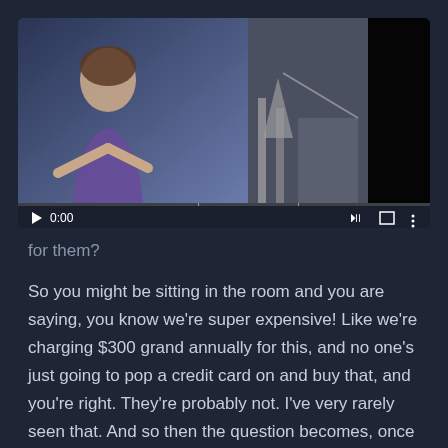[Figure (screenshot): Video player screenshot showing a woman in a blue/purple top presenting, with a dark background. Player controls show 0:00 timestamp, play button, volume icon, fullscreen icon, and options icon. A progress bar is visible at the bottom of the player.]
for them?
So you might be sitting in the room and you are saying, you know we're super expensive! Like we're charging $300 grand annually for this, and no one's just going to pop a credit card on and buy that, and you're right. They're probably not. I've very rarely seen that. And so then the question becomes, once they're in that buy process, how easy is it to add on modules to that